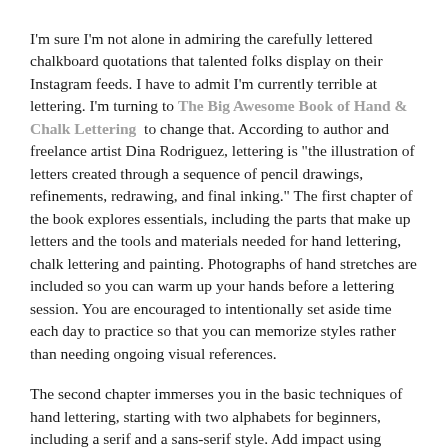I'm sure I'm not alone in admiring the carefully lettered chalkboard quotations that talented folks display on their Instagram feeds. I have to admit I'm currently terrible at lettering. I'm turning to The Big Awesome Book of Hand & Chalk Lettering to change that. According to author and freelance artist Dina Rodriguez, lettering is "the illustration of letters created through a sequence of pencil drawings, refinements, redrawing, and final inking." The first chapter of the book explores essentials, including the parts that make up letters and the tools and materials needed for hand lettering, chalk lettering and painting. Photographs of hand stretches are included so you can warm up your hands before a lettering session. You are encouraged to intentionally set aside time each day to practice so that you can memorize styles rather than needing ongoing visual references.
The second chapter immerses you in the basic techniques of hand lettering, starting with two alphabets for beginners, including a serif and a sans-serif style. Add impact using illustrations and doodles related to your wording. Once you have mastered lettering styles, transfer techniques, inking and colours, move onto the lettering projects outlined in the final pages. Do something as simple as a hand-lettered gift tag or transfer your artwork to a t-shirt, mug or can. Create a birthday card, a...